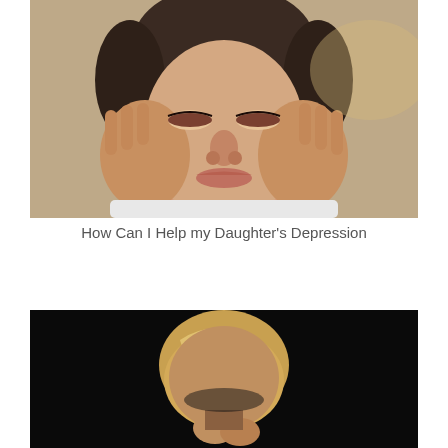[Figure (photo): Close-up photo of a young woman resting her face in both hands, looking downward with a sad or tired expression, wearing a white top, blurred background]
How Can I Help my Daughter's Depression
[Figure (photo): Photo of a blonde woman with head bowed and hands raised, shot against a dark/black background, suggesting distress or depression]